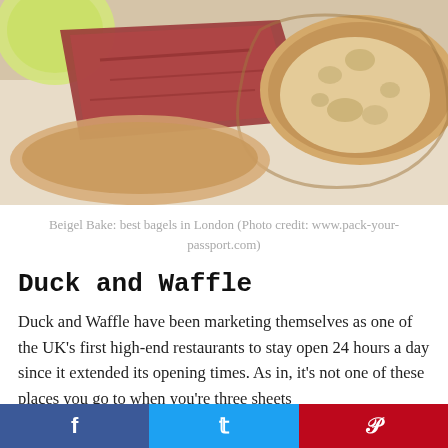[Figure (photo): Close-up photo of a bagel sandwich with sliced meat filling and a crusty bread roll, on a white surface, partially cropped at top.]
Beigel Bake: best bagels in London (Photo credit: www.pack-your-passport.com)
Duck and Waffle
Duck and Waffle have been marketing themselves as one of the UK's first high-end restaurants to stay open 24 hours a day since it extended its opening times. As in, it's not one of these places you go to when you're three sheets...